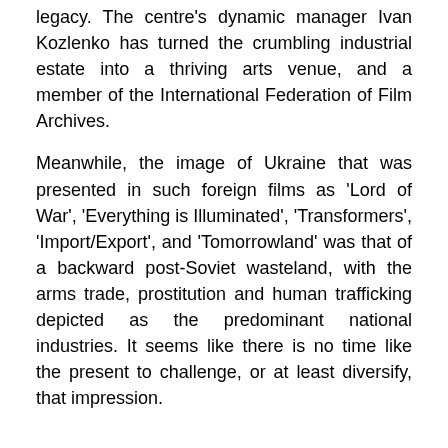legacy. The centre's dynamic manager Ivan Kozlenko has turned the crumbling industrial estate into a thriving arts venue, and a member of the International Federation of Film Archives.
Meanwhile, the image of Ukraine that was presented in such foreign films as 'Lord of War', 'Everything is Illuminated', 'Transformers', 'Import/Export', and 'Tomorrowland' was that of a backward post-Soviet wasteland, with the arms trade, prostitution and human trafficking depicted as the predominant national industries. It seems like there is no time like the present to challenge, or at least diversify, that impression.
Great expectations: present challenges, future prospects
For the first time in over two decades, we can tentatively speak about a veritable revival of